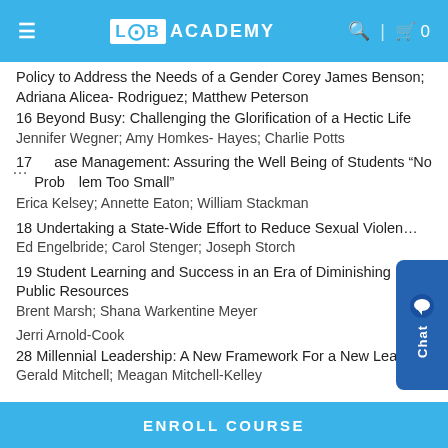LOB ACADEMY
Policy to Address the Needs of a Gender Corey James Benson; Adriana Alicea- Rodriguez; Matthew Peterson
16 Beyond Busy: Challenging the Glorification of a Hectic Life
Jennifer Wegner; Amy Homkes- Hayes; Charlie Potts
17 Case Management: Assuring the Well Being of Students “No Problem Too Small”
Erica Kelsey; Annette Eaton; William Stackman
18 Undertaking a State-Wide Effort to Reduce Sexual Violence
Ed Engelbride; Carol Stenger; Joseph Storch
19 Student Learning and Success in an Era of Diminishing Public Resources
Brent Marsh; Shana Warkentine Meyer
Jerri Arnold-Cook
28 Millennial Leadership: A New Framework For a New Leader
Gerald Mitchell; Meagan Mitchell-Kelley
ENROLL COURSE